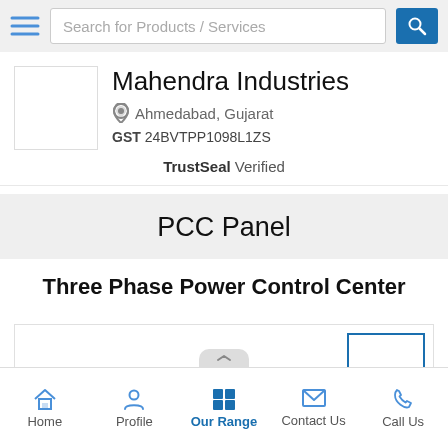Search for Products / Services
Mahendra Industries
Ahmedabad, Gujarat
GST 24BVTPP1098L1ZS
TrustSeal Verified
PCC Panel
Three Phase Power Control Center
[Figure (photo): Product image area showing PCC Panel with thumbnail images on the right side]
Home  Profile  Our Range  Contact Us  Call Us